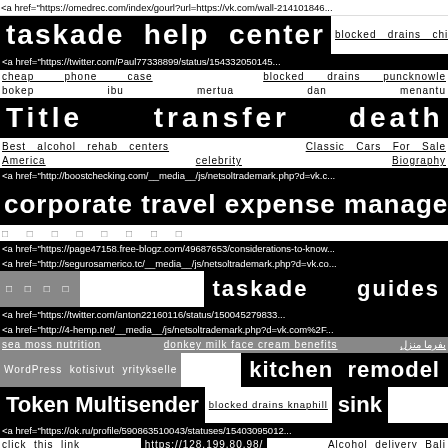<a href="https://omedrec.com/index/gourl?url=https://vk.com/wall-214101846...
taskade help center
blocked drains chinnor
<a href="https://twitter.com/Paul77338899/status/154332050145...
cheap phone case   blocked drains puncknowle
bokep ibu mertua dan menantu
Title transfer death probate
Best alcohol rehab centers   Classic Cars For Sale
America   celebrity   Biography
<a href="http://boostchecking.com/__media__/js/netsoltrademark.php?d=vk.c...
corporate travel expense management
□ □ □ □ □ □ □ □
<a href="https://page47158.free-blogz.com/49687653/considerations-to-know...
<a href="http://segurosamerico.tc/__media__/js/netsoltrademark.php?d=vk.co...
□ □ □ □
taskade guides
<a href="https://twitter.com/anton22160116/status/150045279833...
<a href="http://4-hemp.net/__media__/js/netsoltrademark.php?d=vk.com%2F...
sea moss nutrition   donkey milk face cream benefits   بفرما منزل
WordPress kotisivut yritykselle
kitchen remodel
Token Multisender
blocked drains knaphill
sink
<a href="https://ok.ru/profile/590863510043/statuses/15403095012...
click this link   https://128.199.80.98/   Alcohol delivery Bali
<a href="https://ok.ru/profile/338323965023/statuses/153817935...
macallan   estate
<a href="http://americancapitalselfstorage.com/__media__/js/netsoltradema...